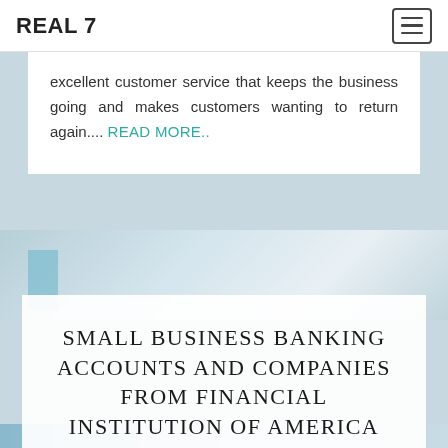REAL 7
excellent customer service that keeps the business going and makes customers wanting to return again.... READ MORE..
SMALL BUSINESS BANKING ACCOUNTS AND COMPANIES FROM FINANCIAL INSTITUTION OF AMERICA
July 19, 2019  Sonya